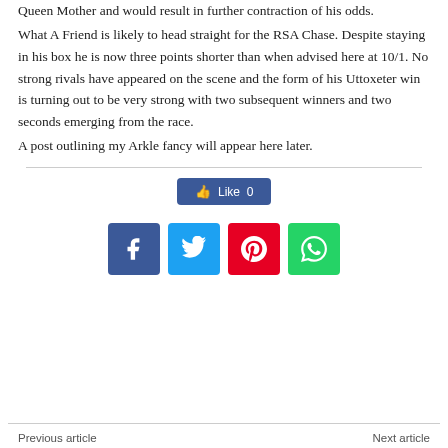Queen Mother and would result in further contraction of his odds.
What A Friend is likely to head straight for the RSA Chase. Despite staying in his box he is now three points shorter than when advised here at 10/1. No strong rivals have appeared on the scene and the form of his Uttoxeter win is turning out to be very strong with two subsequent winners and two seconds emerging from the race.
A post outlining my Arkle fancy will appear here later.
[Figure (other): Facebook Like button showing 0 likes, and four social sharing icons: Facebook (blue), Twitter (cyan), Pinterest (red), WhatsApp (green)]
Previous article    Next article